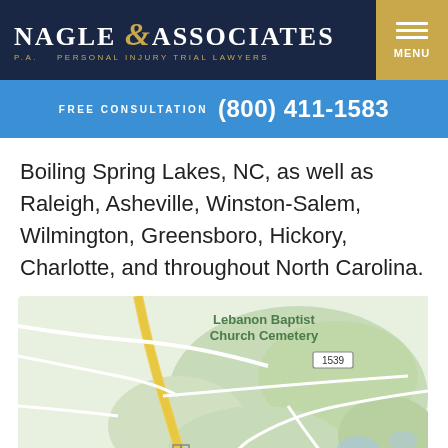[Figure (logo): Nagle & Associates P.A. Personal Injury Trial Lawyers logo on dark navy background with gold ampersand and MENU button]
FREE CONSULTATION (800) 411-1583
Boiling Spring Lakes, NC, as well as Raleigh, Asheville, Winston-Salem, Wilmington, Greensboro, Hickory, Charlotte, and throughout North Carolina.
[Figure (map): Google Maps view showing Boiling Spring Lakes, NC area with Lebanon Baptist Church Cemetery label, route 87 and route 1539 markers, green wooded areas and white roads on light background]